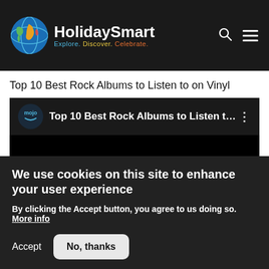HolidaySmart — Explore. Discover. Celebrate.
Top 10 Best Rock Albums to Listen to on Vinyl
[Figure (screenshot): Embedded YouTube-style video player showing 'Top 10 Best Rock Albums to Listen t...' with mojo logo on dark background]
We use cookies on this site to enhance your user experience
By clicking the Accept button, you agree to us doing so. More info
Accept | No, thanks